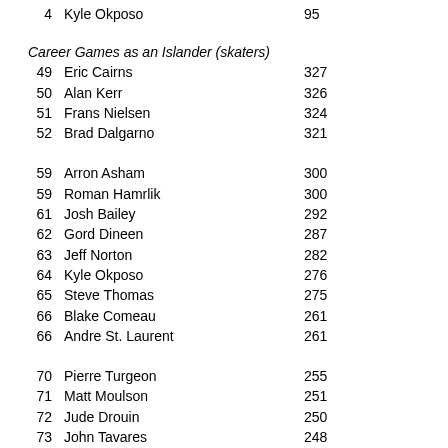4   Kyle Okposo   95
Career Games as an Islander (skaters)
49   Eric Cairns   327
50   Alan Kerr   326
51   Frans Nielsen   324
52   Brad Dalgarno   321
59   Arron Asham   300
59   Roman Hamrlik   300
61   Josh Bailey   292
62   Gord Dineen   287
63   Jeff Norton   282
64   Kyle Okposo   276
65   Steve Thomas   275
66   Blake Comeau   261
66   Andre St. Laurent   261
70   Pierre Turgeon   255
71   Matt Moulson   251
72   Jude Drouin   250
73   John Tavares   248
74   Brad Isbister   247
74   Brendan Witt   247
76   Sean Bergenheim   246
77   Mark Streit   243
77   Miroslav Satan   243